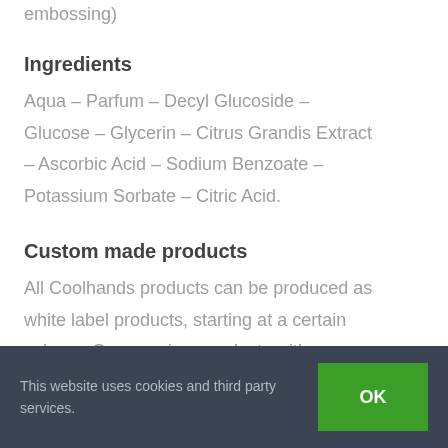embossing)
Ingredients
Aqua – Parfum – Decyl Glucoside – Glucose – Glycerin – Citrus Grandis Extract – Ascorbic Acid – Sodium Benzoate – Potassium Sorbate – Citric Acid.
Custom made products
All Coolhands products can be produced as white label products, starting at a certain volume. Our premium products with your identity in either your own packaging or
This website uses cookies and third party services.